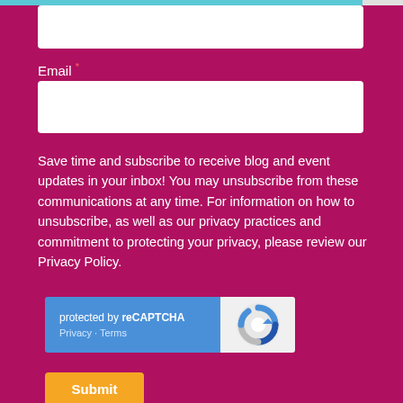Email *
Save time and subscribe to receive blog and event updates in your inbox! You may unsubscribe from these communications at any time. For information on how to unsubscribe, as well as our privacy practices and commitment to protecting your privacy, please review our Privacy Policy.
[Figure (other): reCAPTCHA widget: blue left panel with text 'protected by reCAPTCHA' and links 'Privacy - Terms', white right panel with Google reCAPTCHA logo]
Submit